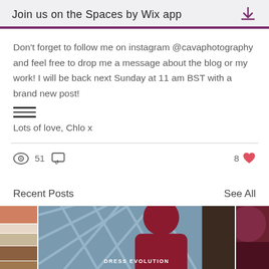Join us on the Spaces by Wix app
Don't forget to follow me on instagram @cavaphotography and feel free to drop me a message about the blog or my work! I will be back next Sunday at 11 am BST with a brand new post!
Lots of love, Chlo x
51 views  0 comments  8 likes
Recent Posts
See All
[Figure (photo): Three thumbnail images for recent posts. Left: stacked color swatches (salmon, white, brown). Center: woman in red dress with lattice window background, labeled DRESS EVOLUTION. Right: partial image with dark red/pink tones.]